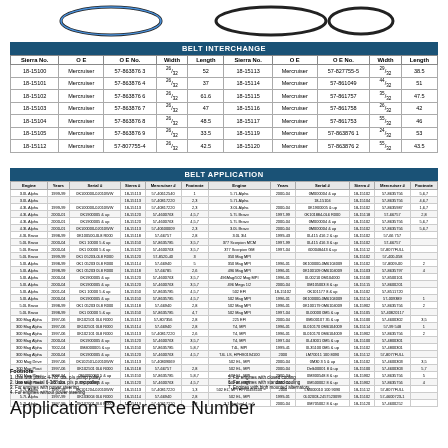[Figure (illustration): Belt illustrations showing different belt cross-sections/profiles at the top of the page]
| Sierra No. | O E | O E No. | Width | Length | Sierra No. | O E | O E No. | Width | Length |
| --- | --- | --- | --- | --- | --- | --- | --- | --- | --- |
| 18-15100 | Mercruiser | 57-863876 3 | 26/32 | 52 | 18-15113 | Mercruiser | 57-827755-5 | 29/32 | 38.5 |
| 18-15101 | Mercruiser | 57-863876 4 | 26/32 | 37 | 18-15114 | Mercruiser | 57-861049 | 44/32 | 51 |
| 18-15102 | Mercruiser | 57-863876 6 | 26/32 | 61.6 | 18-15115 | Mercruiser | 57-861757 | 35/32 | 47.5 |
| 18-15103 | Mercruiser | 57-863876 7 | 26/32 | 47 | 18-15116 | Mercruiser | 57-861758 | 26/32 | 42 |
| 18-15104 | Mercruiser | 57-863876 8 | 26/32 | 48.5 | 18-15117 | Mercruiser | 57-861753 | 55/32 | 46 |
| 18-15105 | Mercruiser | 57-863876 9 | 26/32 | 33.5 | 18-15119 | Mercruiser | 57-863876 1 | 24/32 | 53 |
| 18-15112 | Mercruiser | 57-807755-4 | 26/32 | 42.5 | 18-15120 | Mercruiser | 57-863876 2 | 55/32 | 43.5 |
| Engine | Years | Serial # | Sierra # | Mercruiser # | Footnote | Engine | Years | Serial # | Sierra # | Mercruiser # | Footnote |
| --- | --- | --- | --- | --- | --- | --- | --- | --- | --- | --- | --- |
| ...multiple application rows... |
Footnote: 1. Use with plastic 4-7/8" dia. p/s pump pulley  2. Use with metal 6-3/8" dia. p/s pump pulley  3. For engines with power steering  4. For engines without power steering  5. For engines with closed cooling  6. For engines with standard cooling  7. Engines with high mounted alternators
Application Reference Number